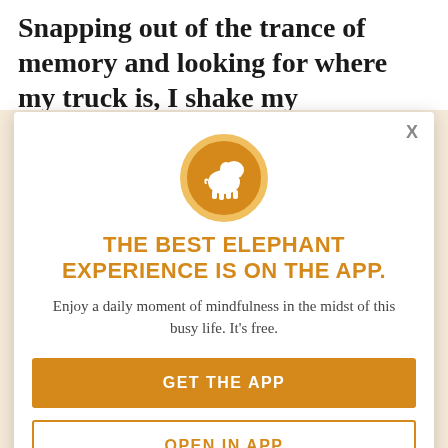Snapping out of the trance of memory and looking for where my truck is, I shake my
head in disbelief. It can't be possible, except that it is totally. He m parks in the parking space. No, in our spot—the one where we had our first date. When I and apologize afterward, but parking space where it all began, that is where I am parked, out of every single possible parking space I remember driving, take after that, that bl
[Figure (logo): Orange circle with white elephant silhouette icon, representing the Elephant app logo]
THE BEST ELEPHANT EXPERIENCE IS ON THE APP.
Enjoy a daily moment of mindfulness in the midst of this busy life. It's free.
GET THE APP
OPEN IN APP